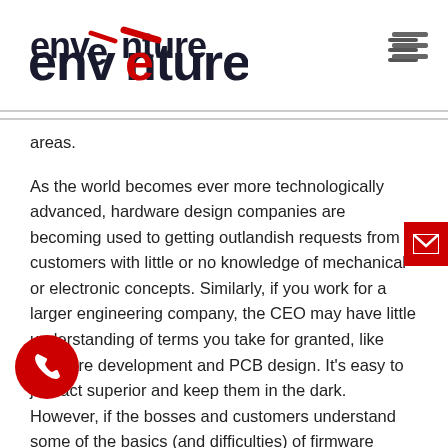enventure
areas.
As the world becomes ever more technologically advanced, hardware design companies are becoming used to getting outlandish requests from customers with little or no knowledge of mechanical or electronic concepts. Similarly, if you work for a larger engineering company, the CEO may have little understanding of terms you take for granted, like firmware development and PCB design. It's easy to just act superior and keep them in the dark. However, if the bosses and customers understand some of the basics (and difficulties) of firmware development and mechanical design, you will find productivity increases.
someone 'at the top' has a brilliant idea for a new gadget, they often think it's just a matter of scribbling it down and passing it on to the engineers. They don't realise there's a big difference between a